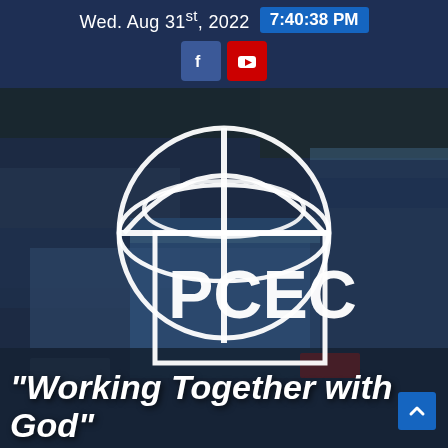Wed. Aug 31st, 2022  7:40:38 PM
[Figure (screenshot): PCEC organization logo (globe with cross) and aerial photo of PCEC building campus in blue-tinted grayscale background]
"Working Together with God"